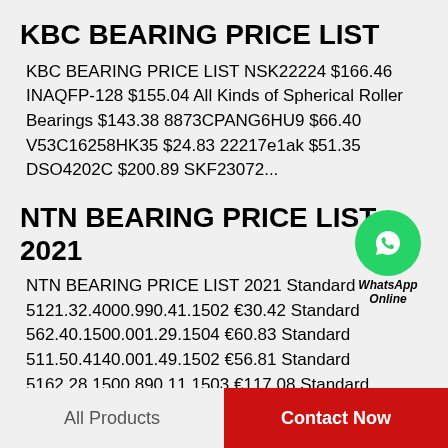KBC BEARING PRICE LIST
KBC BEARING PRICE LIST NSK22224 $166.46 INAQFP-128 $155.04 All Kinds of Spherical Roller Bearings $143.38 8873CPANG6HU9 $66.40 V53C16258HK35 $24.83 22217e1ak $51.35 DSO4202C $200.89 SKF23072...
[Figure (logo): WhatsApp Online green circle logo with phone icon and text 'WhatsApp Online']
NTN BEARING PRICE LIST 2021
NTN BEARING PRICE LIST 2021 Standard 5121.32.4000.990.41.1502 €30.42 Standard 562.40.1500.001.29.1504 €60.83 Standard 511.50.4140.001.49.1502 €56.81 Standard 5162.28.1500.890.11.1503 €117.08 Standard...
All Products   Contact Now